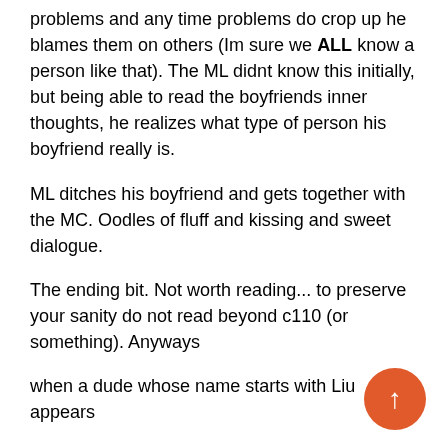problems and any time problems do crop up he blames them on others (Im sure we ALL know a person like that). The ML didnt know this initially, but being able to read the boyfriends inner thoughts, he realizes what type of person his boyfriend really is.
ML ditches his boyfriend and gets together with the MC. Oodles of fluff and kissing and sweet dialogue.
The ending bit. Not worth reading... to preserve your sanity do not read beyond c110 (or something). Anyways
when a dude whose name starts with Liu appears
(I think its Liu Wei? idk MTL isnt clear)...
NO. Seriously. Drop it and dont look back. Youll thank me. Or read on and see what I mean.
Story follows Xiao Jiashu, an unfavored descendant of a pharmaceutical empire. The prodigious airhead returns to China to a cold reception from his family outside of his mother, a former